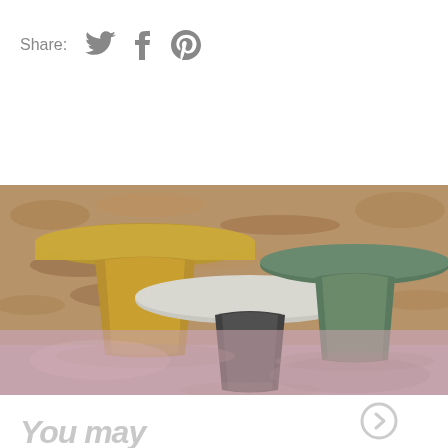Share:
[Figure (photo): Three mushroom-shaped side tables in yellow/mustard, dark grey/black, and sage green colors, arranged against a wood particleboard wall on a pink concrete floor.]
You may